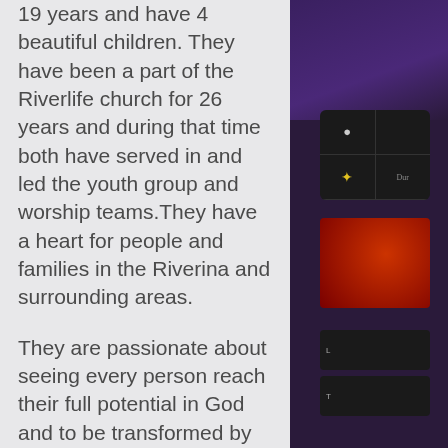19 years and have 4 beautiful children. They have been a part of the Riverlife church for 26 years and during that time both have served in and led the youth group and worship teams.They have a heart for people and families in the Riverina and surrounding areas.

They are passionate about seeing every person reach their full potential in God and to be transformed by the word of God through the power of the Holy Spirit.

Ps. Matty and Sharee together with their 4 children,
live on a farm. As a family, they enjoy being a part of the local community
[Figure (screenshot): Right side panel showing a dark purple/black background with what appears to be a mobile device screen or app interface with icons and red/dark content areas.]